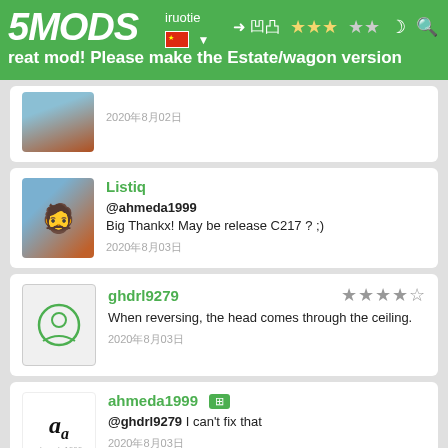5MODS — Great mod! Please make the Estate/wagon version
2020年8月02日
Listiq
@ahmeda1999
Big Thankx! May be release C217 ? ;)
2020年8月03日
ghdrl9279 ★★★★☆
When reversing, the head comes through the ceiling.
2020年8月03日
ahmeda1999 [badge]
@ghdrl9279 I can't fix that
2020年8月03日
ahmeda1999 [badge]
@Listiq Maybe